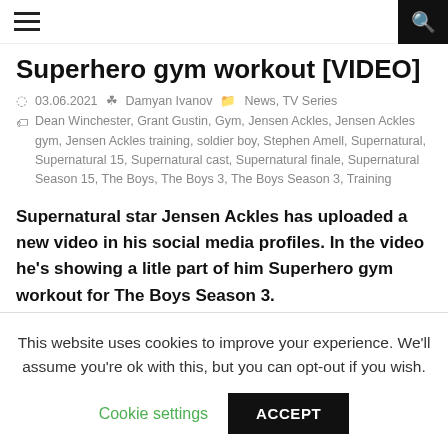[hamburger menu] [search icon]
Superhero gym workout [VIDEO]
03.06.2021  Damyan Ivanov  News, TV Series
Dean Winchester, Grant Gustin, Gym, Jensen Ackles, Jensen Ackles gym, Jensen Ackles training, soldier boy, Stephen Amell, Supernatural, Supernatural 15, Supernatural cast, Supernatural finale, Supernatural Season 15, The Boys, The Boys 3, The Boys Season 3, Training
Supernatural star Jensen Ackles has uploaded a new video in his social media profiles. In the video he's showing a litle part of him Superhero gym workout for The Boys Season 3.
This website uses cookies to improve your experience. We'll assume you're ok with this, but you can opt-out if you wish.
Cookie settings   ACCEPT